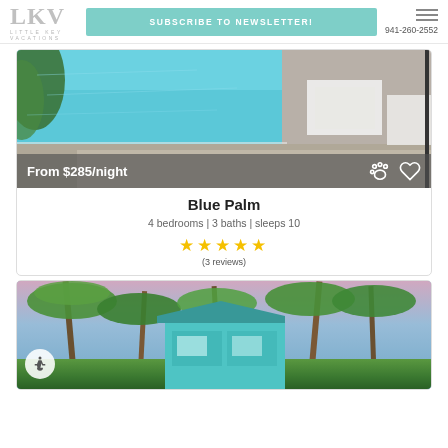LKV LITTLE KEY VACATIONS | SUBSCRIBE TO NEWSLETTER! | 941-260-2552
[Figure (photo): Aerial/elevated view of a swimming pool with white patio furniture and umbrella, palm fronds on left, gray deck surround. Overlay reads 'From $285/night' with paw print and heart icons.]
Blue Palm
4 bedrooms | 3 baths | sleeps 10
★★★★★ (3 reviews)
[Figure (photo): Vacation home exterior with tropical palm trees, teal/turquoise building facade, blue sky with sunset colors. Wheelchair accessible icon visible bottom left.]